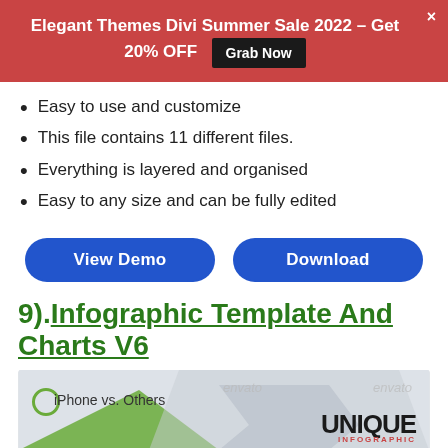Elegant Themes Divi Summer Sale 2022 – Get 20% OFF  Grab Now
Easy to use and customize
This file contains 11 different files.
Everything is layered and organised
Easy to any size and can be fully edited
[Figure (other): Two dashed-border blue buttons labeled 'View Demo' and 'Download']
9).Infographic Template And Charts V6
[Figure (screenshot): Preview image showing 'iPhone vs. Others' infographic with envato watermark and UNIQUE INFOGRAPHIC branding]